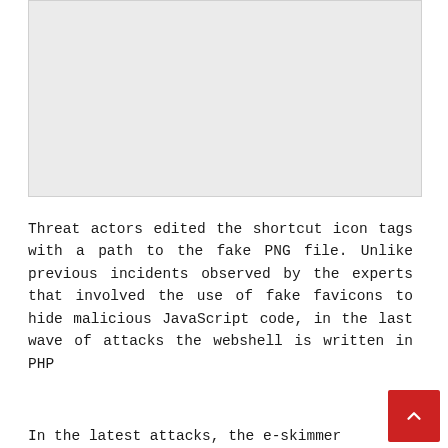[Figure (other): Gray placeholder image region at the top of the page]
Threat actors edited the shortcut icon tags with a path to the fake PNG file. Unlike previous incidents observed by the experts that involved the use of fake favicons to hide malicious JavaScript code, in the last wave of attacks the webshell is written in PHP
In the latest attacks, the e-skimmer